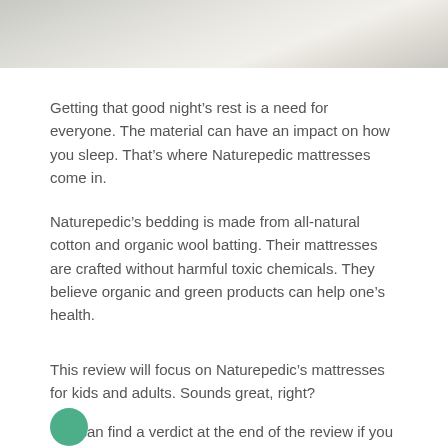[Figure (photo): Close-up photo of white/cream fabric or bedding material, softly lit]
Getting that good night’s rest is a need for everyone. The material can have an impact on how you sleep. That’s where Naturepedic mattresses come in.
Naturepedic’s bedding is made from all-natural cotton and organic wool batting. Their mattresses are crafted without harmful toxic chemicals. They believe organic and green products can help one’s health.
This review will focus on Naturepedic’s mattresses for kids and adults. Sounds great, right?
You can find a verdict at the end of the review if you don’t have the time.
[Figure (illustration): Partial view of a circular avatar/profile icon in teal/green color at the bottom left]